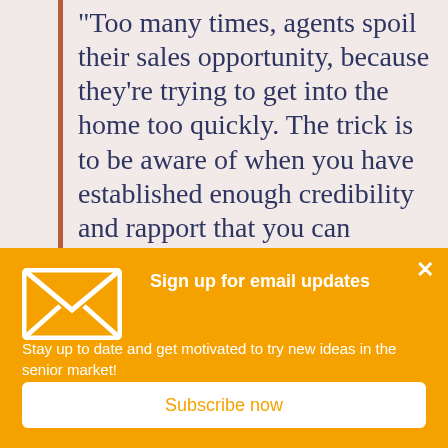“Too many times, agents spoil their sales opportunity, because they’re trying to get into the home too quickly. The trick is to be aware of when you have established enough credibility and rapport that you can assumptively go
Sign up for email updates
Stay up to date and get motivated to try new ideas in the senior market!
Subscribe now